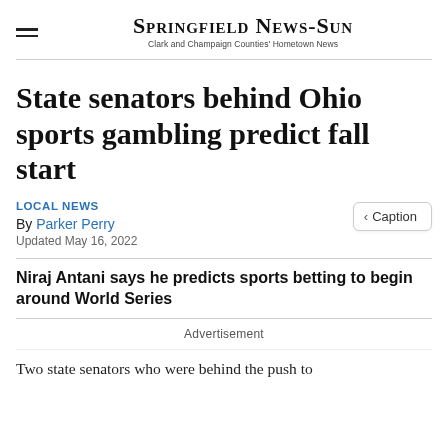Springfield News-Sun
Clark and Champaign Counties' Hometown News
State senators behind Ohio sports gambling predict fall start
LOCAL NEWS
By Parker Perry
Updated May 16, 2022
Niraj Antani says he predicts sports betting to begin around World Series
Advertisement
Two state senators who were behind the push to